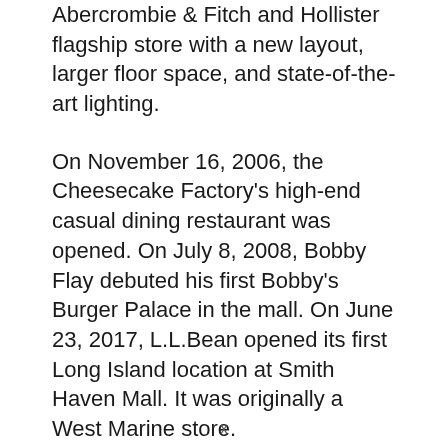Abercrombie & Fitch and Hollister flagship store with a new layout, larger floor space, and state-of-the-art lighting.
On November 16, 2006, the Cheesecake Factory's high-end casual dining restaurant was opened. On July 8, 2008, Bobby Flay debuted his first Bobby's Burger Palace in the mall. On June 23, 2017, L.L.Bean opened its first Long Island location at Smith Haven Mall. It was originally a West Marine store.
Today, Smith haven Mall features over 130 stores, including J.C. Penney, Macy's, Lord & Taylor, and Nordstrom Rack. The mall also has a food court with several fast food...
x